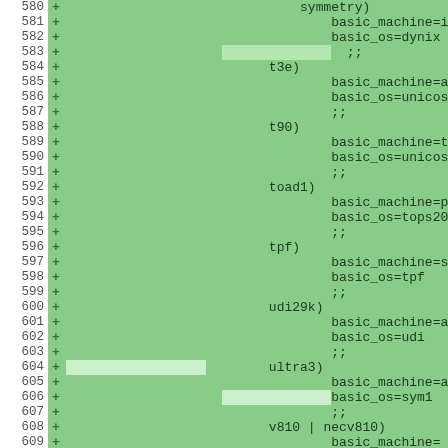[Figure (screenshot): Diff view of shell script code showing added lines (marked with +) from line 580 to 609. Lines show case statement entries for various machine types (symmetry, t3e, t90, toad1, tpf, udi29k, ultra3, v810/necv810) with basic_machine and basic_os assignments. Green background indicates added lines. Some lines have lighter green highlighting for specific tokens.]